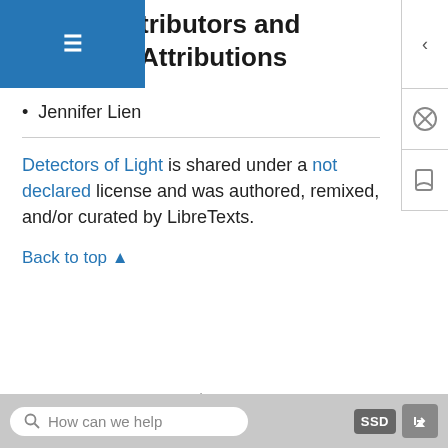Contributors and Attributions
Jennifer Lien
Detectors of Light is shared under a not declared license and was authored, remixed, and/or curated by LibreTexts.
Back to top ▲
◄ Detectors | Detectors ►
Was this article helpful?